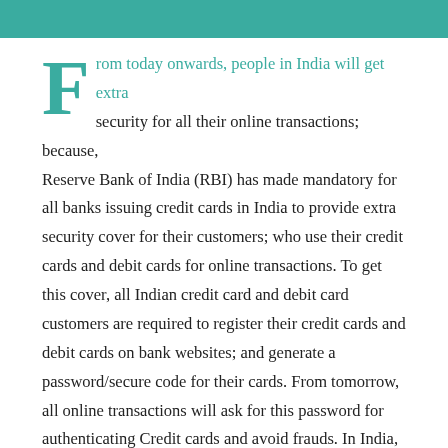From today onwards, people in India will get extra security for all their online transactions; because, Reserve Bank of India (RBI) has made mandatory for all banks issuing credit cards in India to provide extra security cover for their customers; who use their credit cards and debit cards for online transactions. To get this cover, all Indian credit card and debit card customers are required to register their credit cards and debit cards on bank websites; and generate a password/secure code for their cards. From tomorrow, all online transactions will ask for this password for authenticating Credit cards and avoid frauds. In India, credit cards are mainly provided by Visa and Mastercard. Both Visa and Mastercard are already providing this service in the form of Verified by Visa and